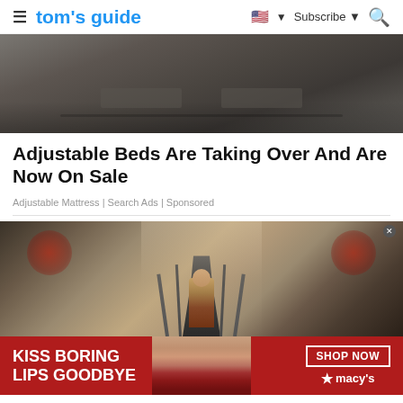tom's guide | Subscribe | Search
[Figure (photo): Top portion of a dark gray sofa/adjustable bed product photo]
Adjustable Beds Are Taking Over And Are Now On Sale
Adjustable Mattress | Search Ads | Sponsored
[Figure (photo): Scene from House of the Dragon / Game of Thrones showing a child sitting on the Iron Throne with Targaryen sigils in the background]
[Figure (photo): Macy's advertisement banner: KISS BORING LIPS GOODBYE with a woman's face, red lips, SHOP NOW button and Macy's star logo]